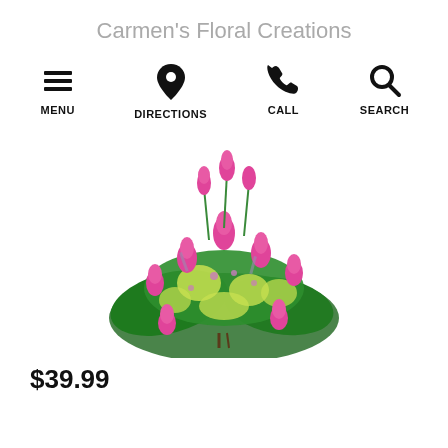Carmen's Floral Creations
[Figure (infographic): Navigation bar with four icons: MENU (hamburger icon), DIRECTIONS (map pin icon), CALL (phone icon), SEARCH (magnifying glass icon)]
[Figure (photo): A floral arrangement with pink tulip roses and yellow-green alstroemeria flowers with dark green foliage, arranged in a bouquet style.]
$39.99